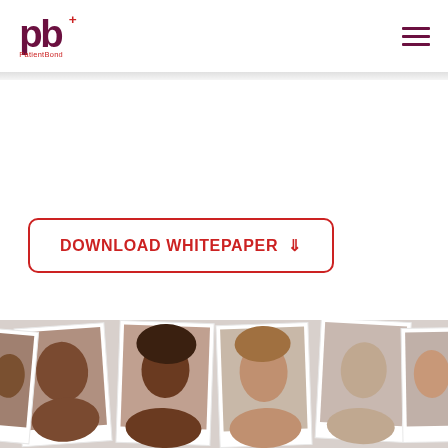PatientBond logo and navigation menu
DOWNLOAD WHITEPAPER ⇩
[Figure (photo): A collage of Polaroid-style portrait photographs showing diverse people (men and women of various ethnicities), arranged in an overlapping scattered layout. Visible from approximately chest/shoulders up. The photos are placed on a white background.]